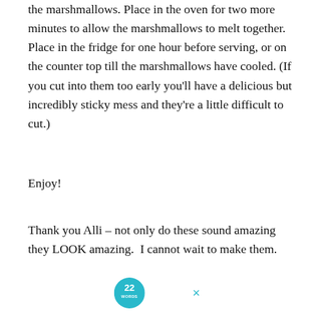the marshmallows. Place in the oven for two more minutes to allow the marshmallows to melt together. Place in the fridge for one hour before serving, or on the counter top till the marshmallows have cooled. (If you cut into them too early you'll have a delicious but incredibly sticky mess and they're a little difficult to cut.)
Enjoy!
Thank you Alli – not only do these sound amazing they LOOK amazing.  I cannot wait to make them.
[Figure (logo): 22 Words logo — teal circle with '22 WORDS' text in white, with an × close button to the right]